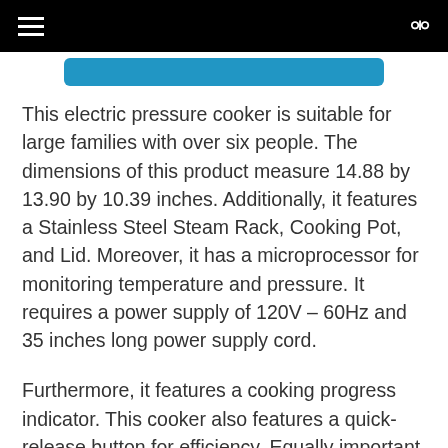[Figure (other): Blue button/banner element at top of content area]
This electric pressure cooker is suitable for large families with over six people. The dimensions of this product measure 14.88 by 13.90 by 10.39 inches. Additionally, it features a Stainless Steel Steam Rack, Cooking Pot, and Lid. Moreover, it has a microprocessor for monitoring temperature and pressure. It requires a power supply of 120V – 60Hz and 35 inches long power supply cord.
Furthermore, it features a cooking progress indicator. This cooker also features a quick-release button for efficiency. Equally important, all its components that get into contact with your food are stainless steel. The ultimate outcome everyone...